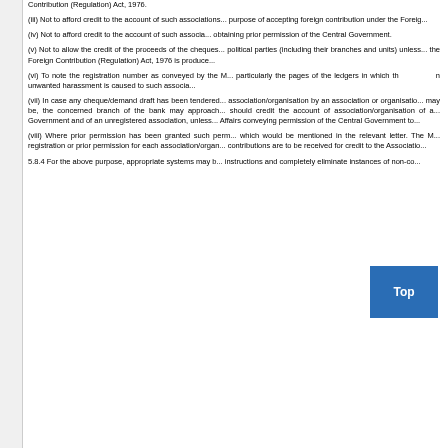Contribution (Regulation) Act, 1976.
(iii) Not to afford credit to the account of such associations... purpose of accepting foreign contribution under the Foreign...
(iv) Not to afford credit to the account of such associa... obtaining prior permission of the Central Government.
(v) Not to allow the credit of the proceeds of the cheques... political parties (including their branches and units) unless... the Foreign Contribution (Regulation) Act, 1976 is produce...
(vi) To note the registration number as conveyed by the M... particularly the pages of the ledgers in which th...n unwanted harassment is caused to such associa...
(vii) In case any cheque/demand draft has been tendered... association/organisation by an association or organisatio... may be, the concerned branch of the bank may approach... should credit the account of association/organisation of a... Government and of an unregistered association, unless... Affairs conveying permission of the Central Government to...
(viii) Where prior permission has been granted such perm... which would be mentioned in the relevant letter. The M... registration or prior permission for each association/organ... contributions are to be received for credit to the Associatio...
5.8.4 For the above purpose, appropriate systems may b... instructions and completely eliminate instances of non-co...